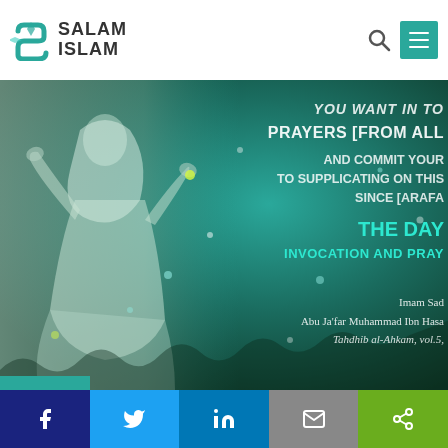Salam Islam
[Figure (illustration): Islamic prayer scene with a person in white robes raising hands in supplication against a teal/green mystical background with sparkles and overlay text about prayers, Arafat, invocation, with attribution to Imam Sadiq and Abu Ja'far Muhammad Ibn Hasan, Tahdhib al-Ahkam vol.5]
Social share buttons: Facebook, Twitter, LinkedIn, Email, Share